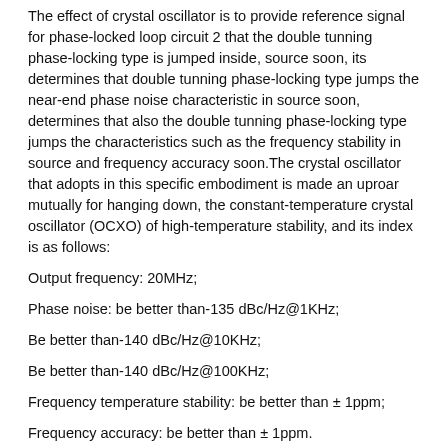The effect of crystal oscillator is to provide reference signal for phase-locked loop circuit 2 that the double tunning phase-locking type is jumped inside, source soon, its determines that double tunning phase-locking type jumps the near-end phase noise characteristic in source soon, determines that also the double tunning phase-locking type jumps the characteristics such as the frequency stability in source and frequency accuracy soon.The crystal oscillator that adopts in this specific embodiment is made an uproar mutually for hanging down, the constant-temperature crystal oscillator (OCXO) of high-temperature stability, and its index is as follows:
Output frequency: 20MHz;
Phase noise: be better than-135 dBc/Hz@1KHz;
Be better than-140 dBc/Hz@10KHz;
Be better than-140 dBc/Hz@100KHz;
Frequency temperature stability: be better than ± 1ppm;
Frequency accuracy: be better than ± 1ppm.